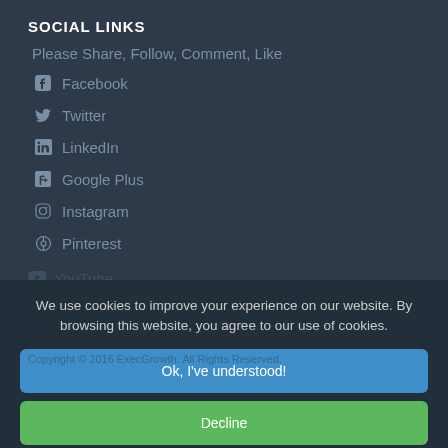SOCIAL LINKS
Please Share, Follow, Comment, Like
Facebook
Twitter
LinkedIn
Google Plus
Instagram
Pinterest
YouTube
We use cookies to improve your experience on our website. By browsing this website, you agree to our use of cookies.
Ok, I've understood!
Copyright © 2016 ExecGrowth. All Rights Reserved.
Decline
More Info